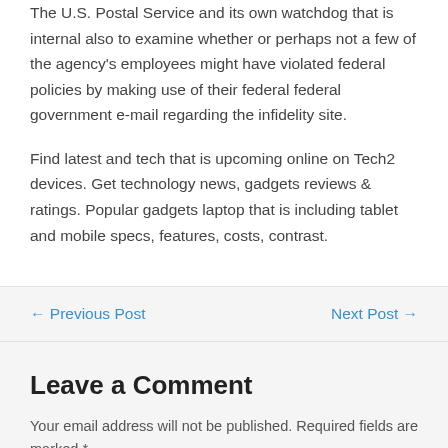The U.S. Postal Service and its own watchdog that is internal also to examine whether or perhaps not a few of the agency's employees might have violated federal policies by making use of their federal federal government e-mail regarding the infidelity site.
Find latest and tech that is upcoming online on Tech2 devices. Get technology news, gadgets reviews & ratings. Popular gadgets laptop that is including tablet and mobile specs, features, costs, contrast.
← Previous Post
Next Post →
Leave a Comment
Your email address will not be published. Required fields are marked *